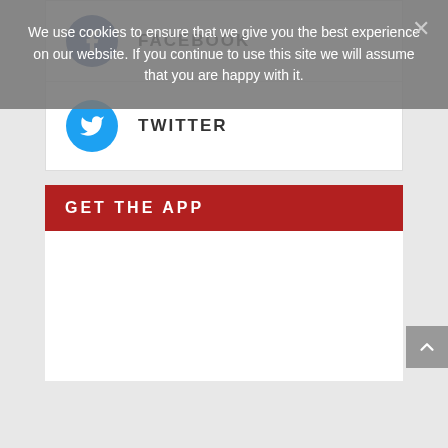FACEBOOK
TWITTER
GET THE APP
We use cookies to ensure that we give you the best experience on our website. If you continue to use this site we will assume that you are happy with it.